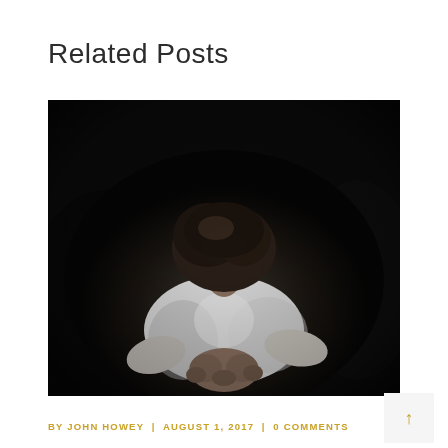Related Posts
[Figure (photo): Person in white t-shirt with head bowed down, hands clasped, dark moody background — image conveys distress or grief]
BY JOHN HOWEY | AUGUST 1, 2017 | 0 COMMENTS